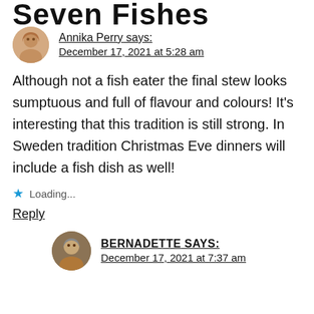Seven Fishes
Annika Perry says:
December 17, 2021 at 5:28 am
Although not a fish eater the final stew looks sumptuous and full of flavour and colours! It’s interesting that this tradition is still strong. In Sweden tradition Christmas Eve dinners will include a fish dish as well!
Loading...
Reply
BERNADETTE says:
December 17, 2021 at 7:37 am